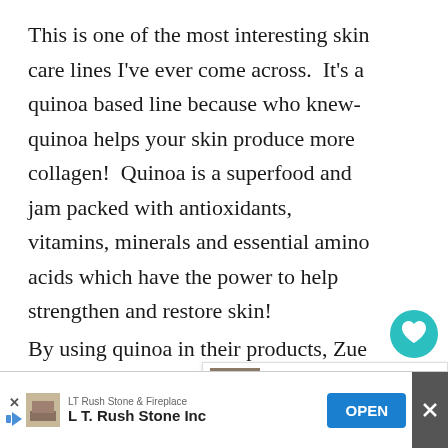This is one of the most interesting skin care lines I've ever come across.  It's a quinoa based line because who knew-quinoa helps your skin produce more collagen!  Quinoa is a superfood and jam packed with antioxidants, vitamins, minerals and essential amino acids which have the power to help strengthen and restore skin!
By using quinoa in their products, Zue partners with the Paez indigenous tribes in Columbia providing them with effective tools and training to harvest organic quinoa.  They are able to generate a sustainable...
[Figure (screenshot): UI overlay with heart like button (teal circle), like count 10, share button, and 'What's Next' card showing 'Antioxidant Rich Trail Mi...' article preview]
[Figure (screenshot): Advertisement bar at bottom: LT Rush Stone & Fireplace / L T. Rush Stone Inc with OPEN button and close controls]